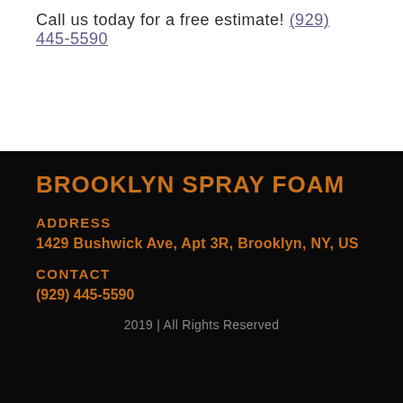Call us today for a free estimate! (929) 445-5590
BROOKLYN SPRAY FOAM
ADDRESS
1429 Bushwick Ave, Apt 3R, Brooklyn, NY, US
CONTACT
(929) 445-5590
2019 | All Rights Reserved